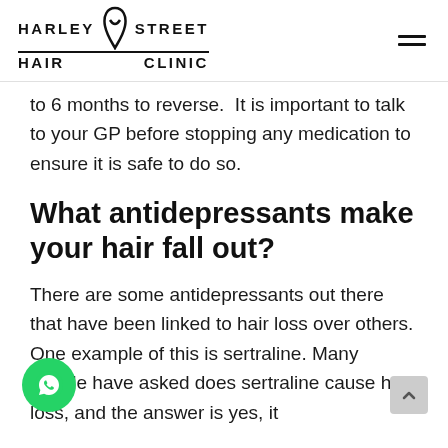HARLEY STREET HAIR CLINIC
to 6 months to reverse.  It is important to talk to your GP before stopping any medication to ensure it is safe to do so.
What antidepressants make your hair fall out?
There are some antidepressants out there that have been linked to hair loss over others. One example of this is sertraline. Many people have asked does sertraline cause hair loss, and the answer is yes, it